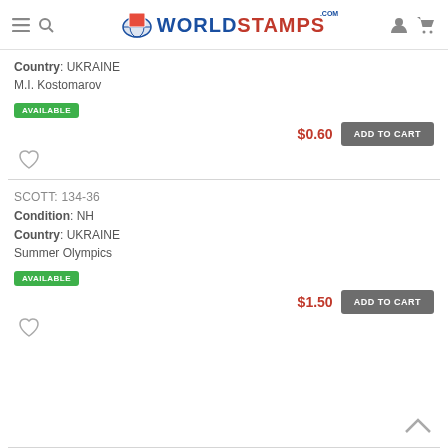[Figure (logo): WorldStamps.com logo with globe and stamp icon]
Country: UKRAINE
M.I. Kostomarov
AVAILABLE
$0.60
ADD TO CART
SCOTT: 134-36
Condition: NH
Country: UKRAINE
Summer Olympics
AVAILABLE
$1.50
ADD TO CART